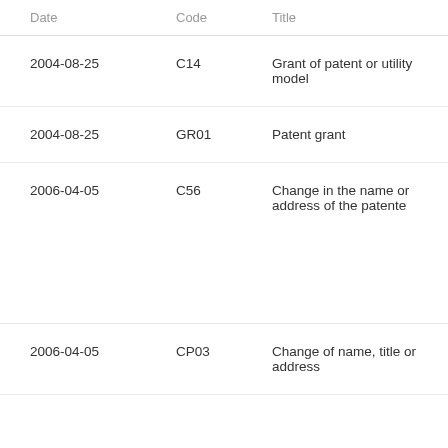| Date | Code | Title |
| --- | --- | --- |
| 2004-08-25 | C14 | Grant of patent or utility model |
| 2004-08-25 | GR01 | Patent grant |
| 2006-04-05 | C56 | Change in the name or address of the patente |
| 2006-04-05 | CP03 | Change of name, title or address |